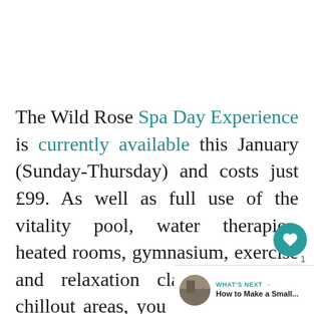The Wild Rose Spa Day Experience is currently available this January (Sunday-Thursday) and costs just £99. As well as full use of the vitality pool, water therapies, heated rooms, gymnasium, exercise and relaxation classes and the chillout areas, you are also treated to a Wild Rose Facial.